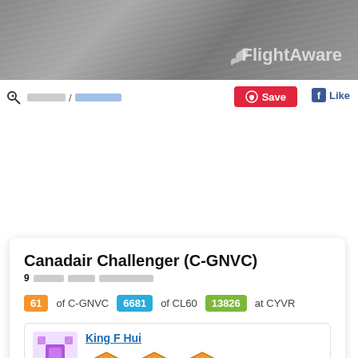[Figure (screenshot): FlightAware website screenshot showing header banner with FlightAware logo, navigation breadcrumbs, Save and Like buttons, and an aircraft detail card for Canadair Challenger (C-GNVC) with stats and user info for King F Hui]
Canadair Challenger (C-GNVC)
9 [redacted] [redacted] [redacted]
61 of C-GNVC   6681 of CL60   13826 at CYVR
King F Hui